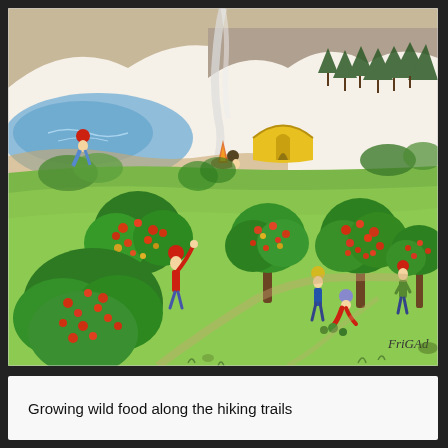[Figure (illustration): Watercolor-style illustration signed 'FriGAd' showing a nature scene: people gathering wild fruit from trees in a meadow, a yellow tent and campfire in the background, a lake with a figure wading, pine trees and mountains in the far background. Children and adults pick berries/apples from round fruit-bearing trees.]
Growing wild food along the hiking trails